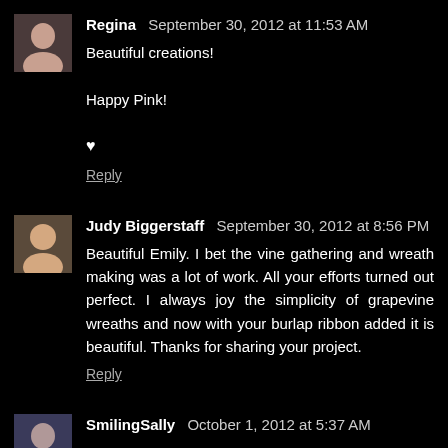Regina  September 30, 2012 at 11:53 AM
Beautiful creations!

Happy Pink!

♥

Reply
Judy Biggerstaff  September 30, 2012 at 8:56 PM
Beautiful Emily. I bet the vine gathering and wreath making was a lot of work. All your efforts turned out perfect. I always joy the simplicity of grapevine wreaths and now with your burlap ribbon added it is beautiful. Thanks for sharing your project.

Reply
SmilingSally  October 1, 2012 at 5:37 AM